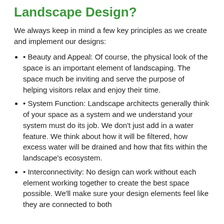Landscape Design?
We always keep in mind a few key principles as we create and implement our designs:
• Beauty and Appeal: Of course, the physical look of the space is an important element of landscaping. The space much be inviting and serve the purpose of helping visitors relax and enjoy their time.
• System Function: Landscape architects generally think of your space as a system and we understand your system must do its job. We don't just add in a water feature. We think about how it will be filtered, how excess water will be drained and how that fits within the landscape's ecosystem.
• Interconnectivity: No design can work without each element working together to create the best space possible. We'll make sure your design elements feel like they are connected to both...